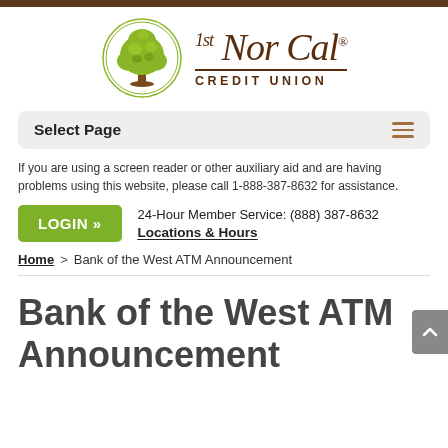[Figure (logo): 1st NorCal Credit Union logo with green tree in circle and stylized text]
Select Page
If you are using a screen reader or other auxiliary aid and are having problems using this website, please call 1-888-387-8632 for assistance.
LOGIN »
24-Hour Member Service: (888) 387-8632
Locations & Hours
Home > Bank of the West ATM Announcement
Bank of the West ATM Announcement